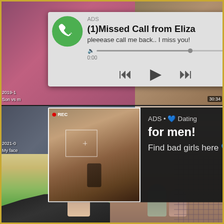[Figure (screenshot): Background video thumbnail grid showing multiple video thumbnails]
[Figure (screenshot): Ad overlay: Phone notification style ad reading 'ADS (1)Missed Call from Eliza pleeease call me back.. I miss you!' with audio player controls showing 0:00 and 3:23 timestamps]
[Figure (screenshot): Ad overlay: Dating ad with REC camera view of woman and text 'ADS • 💙 Dating for men! Find bad girls here 💙']
2019-1
Son vs m
30:34
2021-0
My face
1:11